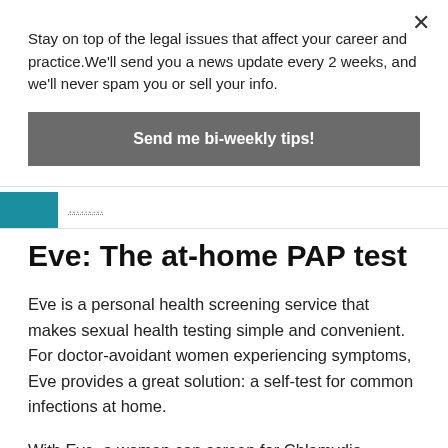Stay on top of the legal issues that affect your career and practice. We'll send you a news update every 2 weeks, and we'll never spam you or sell your info.
Send me bi-weekly tips!
Eve: The at-home PAP test
Eve is a personal health screening service that makes sexual health testing simple and convenient. For doctor-avoidant women experiencing symptoms, Eve provides a great solution: a self-test for common infections at home.
With Eve, a woman can screen for Chlamydia, Gonorrhea or HPV by collecting her own sample at home. She'll receive lab results through a